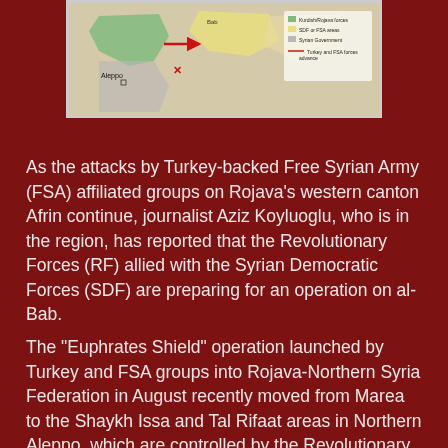[Figure (map): A military map showing the region around Aleppo and northern Syria, with colored territorial markings, arrows indicating troop movements, and an X marking. Legend visible on right side. City label 'Aleppo' visible on left side.]
As the attacks by Turkey-backed Free Syrian Army (FSA) affiliated groups on Rojava's western canton Afrin continue, journalist Aziz Koyluoglu, who is in the region, has reported that the Revolutionary Forces (RF) allied with the Syrian Democratic Forces (SDF) are preparing for an operation on al-Bab.
The “Euphrates Shield” operation launched by Turkey and FSA groups into Rojava-Northern Syria Federation in August recently moved from Marea to the Shaykh Issa and Tal Rifaat areas in Northern Aleppo, which are controlled by the Revolutionary Forces.
This move has been viewed as an effort by Turkey to “suffocate Afrin” while the world’s gaze rests on the Mosul operation. Despite aerial bombardment and heavy shelling, which has killed dozens of fighters and civilians, Turkey